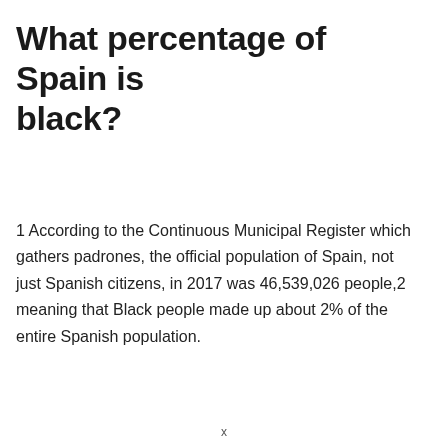What percentage of Spain is black?
1 According to the Continuous Municipal Register which gathers padrones, the official population of Spain, not just Spanish citizens, in 2017 was 46,539,026 people,2 meaning that Black people made up about 2% of the entire Spanish population.
x